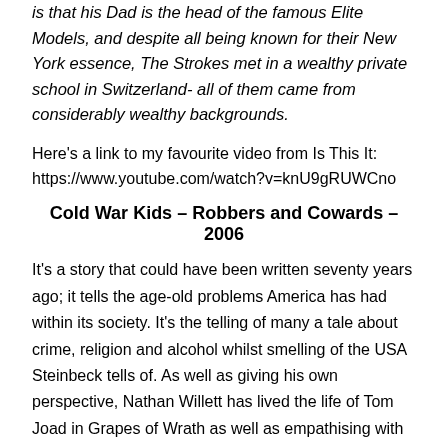is that his Dad is the head of the famous Elite Models, and despite all being known for their New York essence, The Strokes met in a wealthy private school in Switzerland- all of them came from considerably wealthy backgrounds.
Here's a link to my favourite video from Is This It: https://www.youtube.com/watch?v=knU9gRUWCno
Cold War Kids – Robbers and Cowards – 2006
It's a story that could have been written seventy years ago; it tells the age-old problems America has had within its society. It's the telling of many a tale about crime, religion and alcohol whilst smelling of the USA Steinbeck tells of. As well as giving his own perspective, Nathan Willett has lived the life of Tom Joad in Grapes of Wrath as well as empathising with the robber.